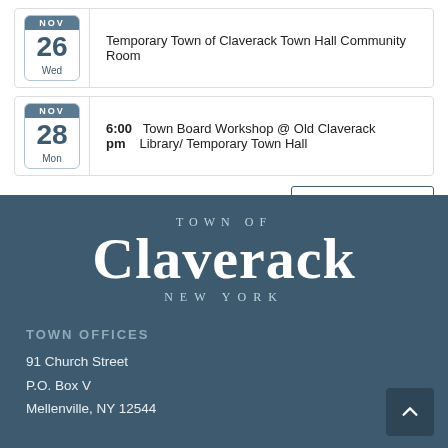Temporary Town of Claverack Town Hall Community Room
NOV 28 Mon — 6:00 pm Town Board Workshop @ Old Claverack Library/ Temporary Town Hall
View Calendar →
[Figure (logo): Town of Claverack New York logo in white text on dark blue-grey background]
TOWN OFFICES
91 Church Street
P.O. Box V
Mellenville, NY 12544